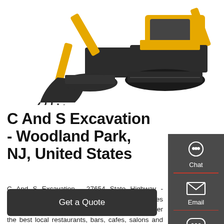[Figure (photo): Two yellow CAT excavators on white background, showing bucket arm and tracks]
C And S Excavation - Woodland Park, NJ, United States
C And S Excavation - 27654 State Highway - (719)687-91 - Woodland Park, NJ, United States reviews and experiences by real locals. Discover the best local restaurants, bars, cafes, salons and more on Tupalo
[Figure (infographic): Dark grey side panel with Chat (headset icon), Email (envelope icon), and Contact (speech bubble icon) buttons separated by red dividers]
Get a Quote